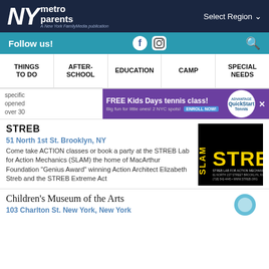NY metro parents — A New York FamilyMedia publication
Follow us!
THINGS TO DO | AFTER-SCHOOL | EDUCATION | CAMP | SPECIAL NEEDS
[Figure (screenshot): Advertisement banner: FREE Kids Days tennis class! Big fun for little ones! 2 NYC spots! ENROLL NOW! Advantage QuickStart Tennis logo]
specific opened over 30
STREB
51 North 1st St. Brooklyn, NY
Come take ACTION classes or book a party at the STREB Lab for Action Mechanics (SLAM) the home of MacArthur Foundation "Genius Award" winning Action Architect Elizabeth Streb and the STREB Extreme Act
[Figure (logo): SLAM STREB Lab for Action Mechanics logo — black background with yellow STREB text]
Children's Museum of the Arts
103 Charlton St. New York, New York